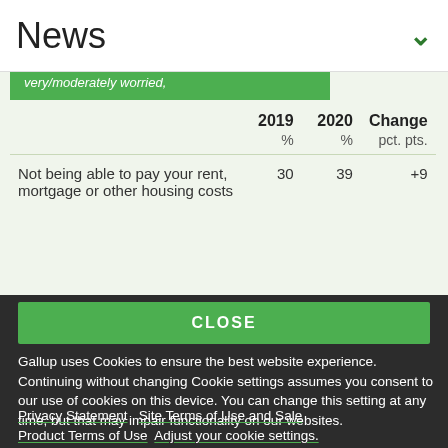News
very/moderately worried,
|  | 2019 | 2020 | Change |
| --- | --- | --- | --- |
|  | % | % | pct. pts. |
| Not being able to pay your rent, mortgage or other housing costs | 30 | 39 | +9 |
CLOSE
Gallup uses Cookies to ensure the best website experience. Continuing without changing Cookie settings assumes you consent to our use of cookies on this device. You can change this setting at any time, but that may impair functionality on our websites.
Privacy Statement   Site Terms of Use and Sale
Product Terms of Use   Adjust your cookie settings.